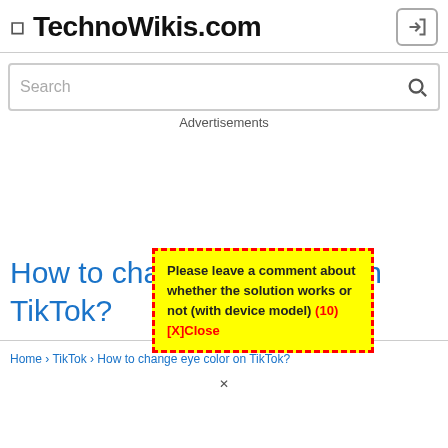TechnoWikis.com
Search
Advertisements
How to cha… on TikTok?
Please leave a comment about whether the solution works or not (with device model)  (10) [X]Close
Home › TikTok › How to change eye color on TikTok?